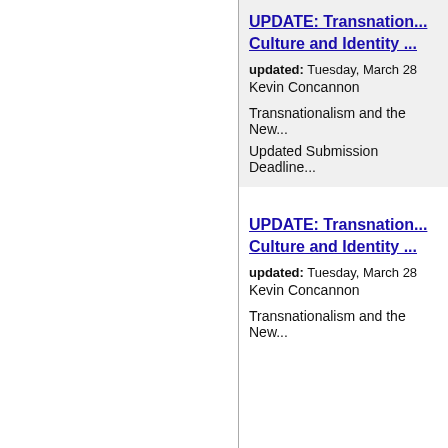UPDATE: Transnationalism, Culture and Identity ...
updated: Tuesday, March 28
Kevin Concannon
Transnationalism and the New...
Updated Submission Deadline...
UPDATE: Transnationalism, Culture and Identity ...
updated: Tuesday, March 28
Kevin Concannon
Transnationalism and the New...